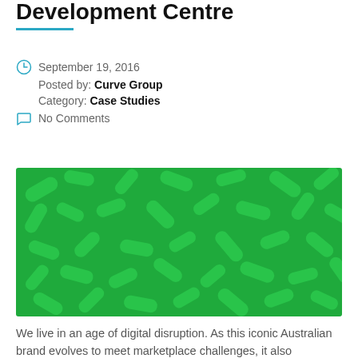Development Centre
September 19, 2016
Posted by: Curve Group
Category: Case Studies
No Comments
[Figure (illustration): Green background with scattered rounded pill/capsule shapes in a slightly darker green tone, arranged randomly across the image.]
We live in an age of digital disruption. As this iconic Australian brand evolves to meet marketplace challenges, it also recognises